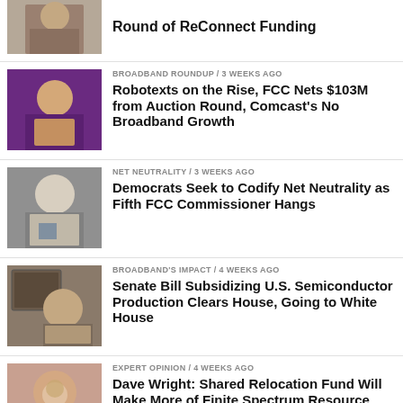[Figure (photo): Man in brown jacket, cropped, top of list]
Round of ReConnect Funding
[Figure (photo): Man in suit speaking on stage with purple background]
BROADBAND ROUNDUP / 3 weeks ago
Robotexts on the Rise, FCC Nets $103M from Auction Round, Comcast's No Broadband Growth
[Figure (photo): Elderly man in white shirt and tie]
NET NEUTRALITY / 3 weeks ago
Democrats Seek to Codify Net Neutrality as Fifth FCC Commissioner Hangs
[Figure (photo): Man in suit in office or room setting]
BROADBAND'S IMPACT / 4 weeks ago
Senate Bill Subsidizing U.S. Semiconductor Production Clears House, Going to White House
[Figure (photo): Red-haired man in light grey jacket]
EXPERT OPINION / 4 weeks ago
Dave Wright: Shared Relocation Fund Will Make More of Finite Spectrum Resource
[Figure (photo): Partial image, bottom of page]
5G / 4 weeks ago